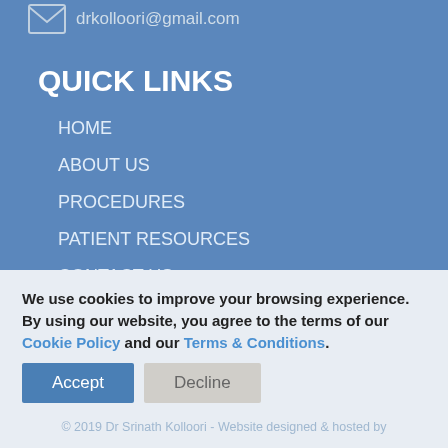drkolloori@gmail.com
QUICK LINKS
HOME
ABOUT US
PROCEDURES
PATIENT RESOURCES
CONTACT US
We use cookies to improve your browsing experience. By using our website, you agree to the terms of our Cookie Policy and our Terms & Conditions.
Accept
Decline
Privacy Policy | Website Disclaimer | Cookie Policy | Terms & Conditions | POPIA Manual | PAIA Manual
© 2019 Dr Srinath Kolloori - Website designed & hosted by